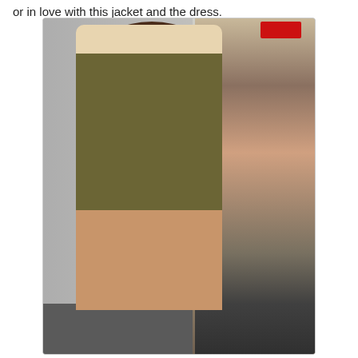or in love with this jacket and the dress.
[Figure (photo): A woman with long brown hair wearing an olive/army green long-sleeve bodycon mini dress, posing with one hand on hip. She stands in front of a promotional poster showing another woman in jeans and a cropped top. The setting appears to be an indoor event or store.]